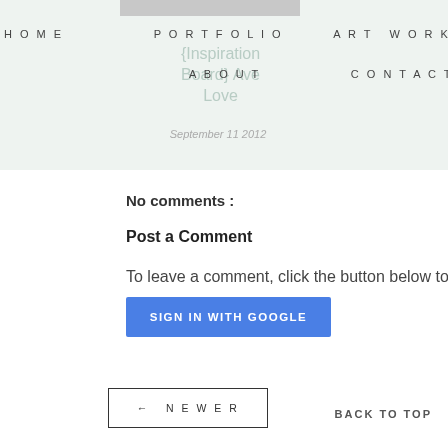HOME   PORTFOLIO   ART WORKSHOPS   ABOUT   CONTACT
[Figure (screenshot): Blog navigation overlay with blog post tiles showing inspiration board posts with dates]
No comments :
Post a Comment
To leave a comment, click the button below to sign in w
SIGN IN WITH GOOGLE
← NEWER
BACK TO TOP